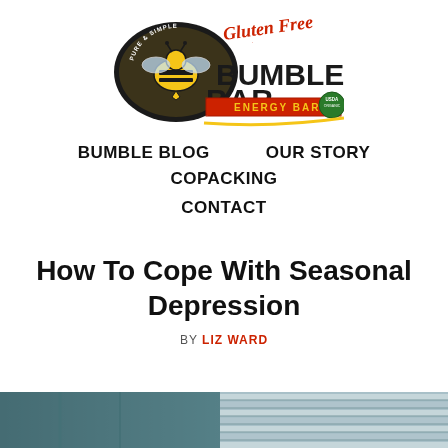[Figure (logo): Bumble Bar Energy Bar logo — circular bee emblem with 'Pure & Simple' text, 'Gluten Free' script, 'BUMBLE BAR' in large red/gold letters, 'ENERGY BAR' on red ribbon, USDA Organic seal]
BUMBLE BLOG   OUR STORY   COPACKING   CONTACT
How To Cope With Seasonal Depression
BY LIZ WARD
[Figure (photo): Partial photo of a room with venetian blinds visible, muted teal/blue tones, cropped at bottom of page]